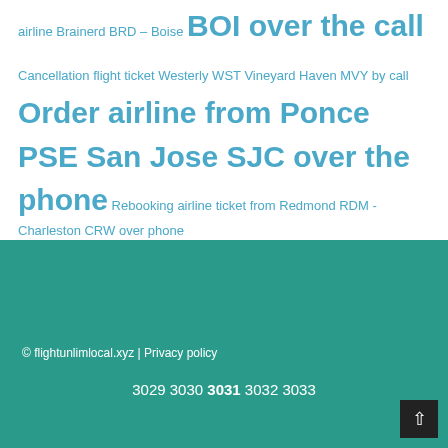airline Brainerd BRD – Boise BOI over the call Cancellation flight ticket Westerly WST Vineyard Haven MVY by call Order airline from Ponce PSE San Jose SJC over the phone Rebooking airline ticket from Redmond RDM - Charleston CRW over phone
© flightunlimlocal.xyz | Privacy policy
3029 3030 3031 3032 3033